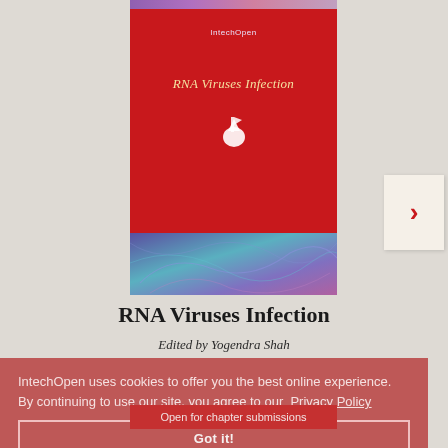[Figure (illustration): Book cover of 'RNA Viruses Infection' published by IntechOpen, with red background, gold/cream italic title text, IntechOpen logo (elephant icon) on the cover, and a purple/teal microscopy image at bottom. A navigation arrow button (>) appears to the right.]
RNA Viruses Infection
Edited by Yogendra Shah
Open for chapter submissions
IntechOpen uses cookies to offer you the best online experience. By continuing to use our site, you agree to our Privacy Policy
Got it!